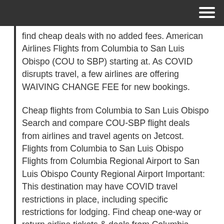[navigation bar with hamburger menu]
find cheap deals with no added fees. American Airlines Flights from Columbia to San Luis Obispo (COU to SBP) starting at. As COVID disrupts travel, a few airlines are offering WAIVING CHANGE FEE for new bookings.
Cheap flights from Columbia to San Luis Obispo Search and compare COU-SBP flight deals from airlines and travel agents on Jetcost. Flights from Columbia to San Luis Obispo Flights from Columbia Regional Airport to San Luis Obispo County Regional Airport Important: This destination may have COVID travel restrictions in place, including specific restrictions for lodging. Find cheap one-way or return airline tickets & deals from Columbia (COU) to San Luis Obispo (SBP) and save on your next flight with callgetflight.us Cheap flights from Columbia to San Luis Obispo airplane: Compare